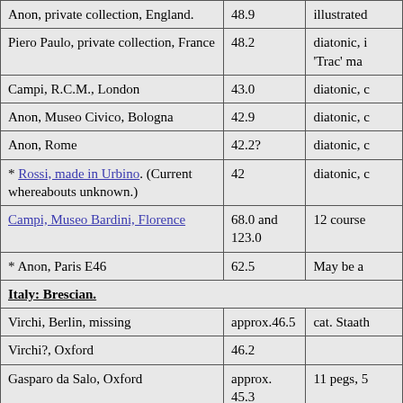| Anon, private collection, England. | 48.9 | illustrated |
| Piero Paulo, private collection, France | 48.2 | diatonic, i 'Trac' ma |
| Campi, R.C.M., London | 43.0 | diatonic, c |
| Anon, Museo Civico, Bologna | 42.9 | diatonic, c |
| Anon, Rome | 42.2? | diatonic, c |
| * Rossi, made in Urbino. (Current whereabouts unknown.) | 42 | diatonic, c |
| Campi, Museo Bardini, Florence | 68.0 and 123.0 | 12 course |
| * Anon, Paris E46 | 62.5 | May be a |
| Italy: Brescian. |  |  |
| Virchi, Berlin, missing | approx.46.5 | cat. Staath |
| Virchi?, Oxford | 46.2 |  |
| Gasparo da Salo, Oxford | approx. 45.3 | 11 pegs, 5 |
| Virchi, Ulivo A 51 | approx. 44.5 |  |